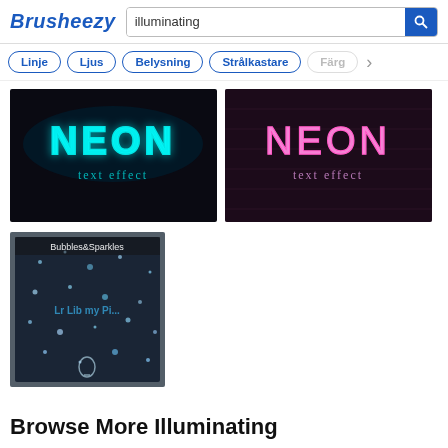Brusheezy
illuminating
Linje
Ljus
Belysning
Strålkastare
Färg
[Figure (screenshot): Neon text effect with cyan/teal glowing letters on dark background]
[Figure (screenshot): Neon text effect with pink/magenta glowing letters on dark brick background]
[Figure (screenshot): Bubbles and Sparkles brush set thumbnail with frosted/icy texture]
Browse More Illuminating